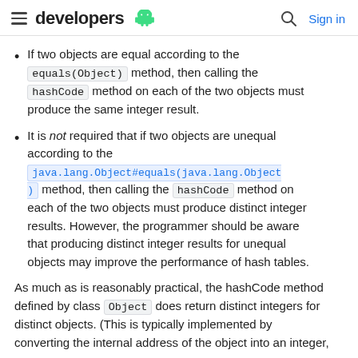developers (android logo) | search | Sign in
If two objects are equal according to the equals(Object) method, then calling the hashCode method on each of the two objects must produce the same integer result.
It is not required that if two objects are unequal according to the java.lang.Object#equals(java.lang.Object) method, then calling the hashCode method on each of the two objects must produce distinct integer results. However, the programmer should be aware that producing distinct integer results for unequal objects may improve the performance of hash tables.
As much as is reasonably practical, the hashCode method defined by class Object does return distinct integers for distinct objects. (This is typically implemented by converting the internal address of the object into an integer,